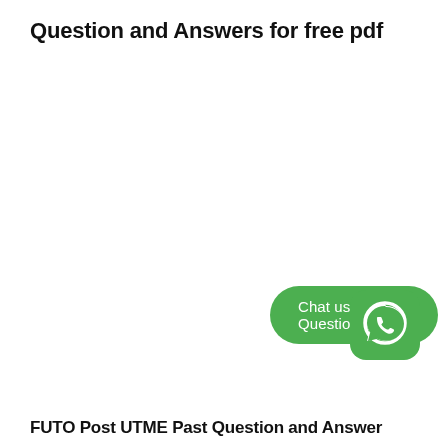Question and Answers for free pdf
[Figure (logo): WhatsApp chat button with green rounded rectangle labeled 'Chat us for Past Questions' and WhatsApp icon]
FUTO Post UTME Past Question and Answer